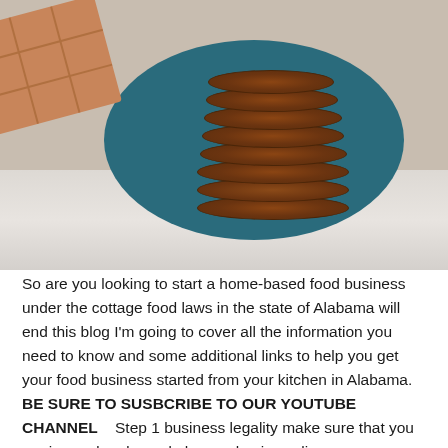[Figure (photo): Photo of a stack of chocolate cookies on a dark teal plate beside a piece of chocolate bar, on a white marble surface]
So are you looking to start a home-based food business under the cottage food laws in the state of Alabama will end this blog I'm going to cover all the information you need to know and some additional links to help you get your food business started from your kitchen in Alabama. BE SURE TO SUSBCRIBE TO OUR YOUTUBE CHANNEL    Step 1 business legality make sure that you are insured and you do have a business license many Cottage food laws throughout the states do not require you to have insurance or have a business license but I highly...